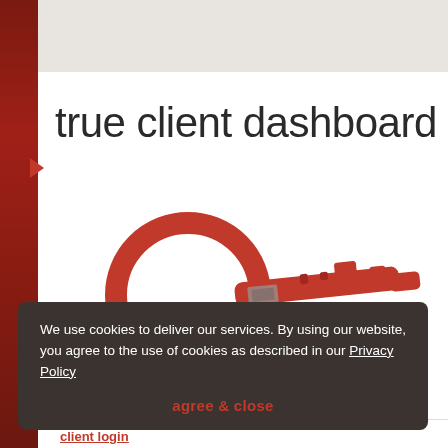true client dashboard
[Figure (illustration): A red metal key icon/object photographed against white background, angled diagonally from lower-left to upper-right]
We use cookies to deliver our services. By using our website, you agree to the use of cookies as described in our Privacy Policy
agree & close
client login